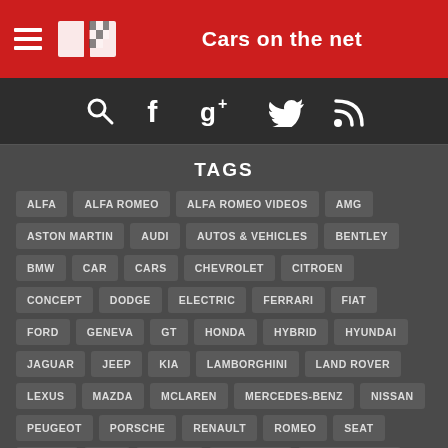Cars on the net
TAGS
ALFA
ALFA ROMEO
ALFA ROMEO VIDEOS
AMG
ASTON MARTIN
AUDI
AUTOS & VEHICLES
BENTLEY
BMW
CAR
CARS
CHEVROLET
CITROEN
CONCEPT
DODGE
ELECTRIC
FERRARI
FIAT
FORD
GENEVA
GT
HONDA
HYBRID
HYUNDAI
JAGUAR
JEEP
KIA
LAMBORGHINI
LAND ROVER
LEXUS
MAZDA
MCLAREN
MERCEDES-BENZ
NISSAN
PEUGEOT
PORSCHE
RENAULT
ROMEO
SEAT
SKODA
SUV
TOYOTA
VAUXHALL
VOLKSWAGEN
VOLVO